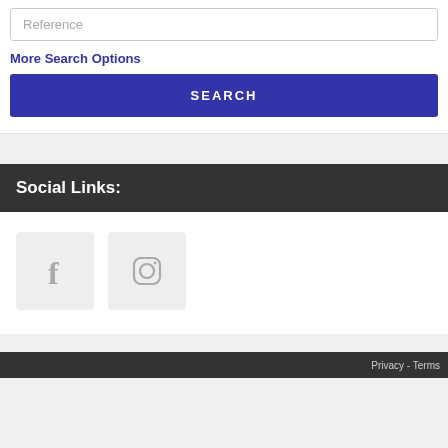Reference
More Search Options
SEARCH
Social Links:
[Figure (other): Facebook icon in a light grey rounded square box]
[Figure (other): Instagram icon in a light grey rounded square box]
Privacy - Terms